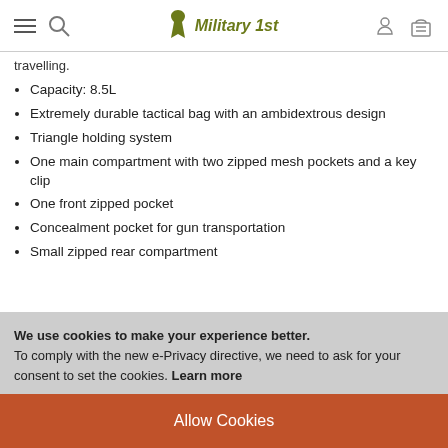Military 1st — navigation header with hamburger menu, search, logo, account, and cart icons
travelling.
Capacity: 8.5L
Extremely durable tactical bag with an ambidextrous design
Triangle holding system
One main compartment with two zipped mesh pockets and a key clip
One front zipped pocket
Concealment pocket for gun transportation
Small zipped rear compartment
We use cookies to make your experience better. To comply with the new e-Privacy directive, we need to ask for your consent to set the cookies. Learn more
Allow Cookies